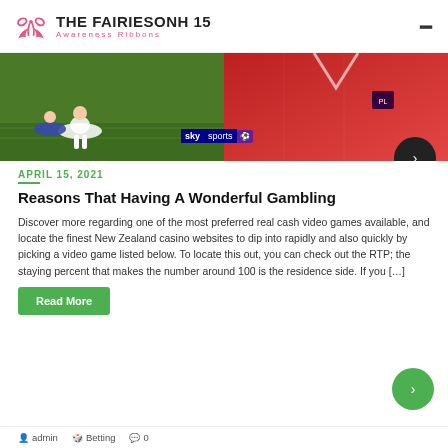[Figure (logo): The Fairiesonh 15 Awareness Ribbons logo with pink ribbon/hands icon]
[Figure (photo): Sports image split: left side shows soccer/football players on grass, right side shows player in red jersey. Sky Sports Premier League badge overlay.]
APRIL 15, 2021
Reasons That Having A Wonderful Gambling
Discover more regarding one of the most preferred real cash video games available, and locate the finest New Zealand casino websites to dip into rapidly and also quickly by picking a video game listed below. To locate this out, you can check out the RTP; the staying percent that makes the number around 100 is the residence side. If you [...]
Read More
admin   Betting   0